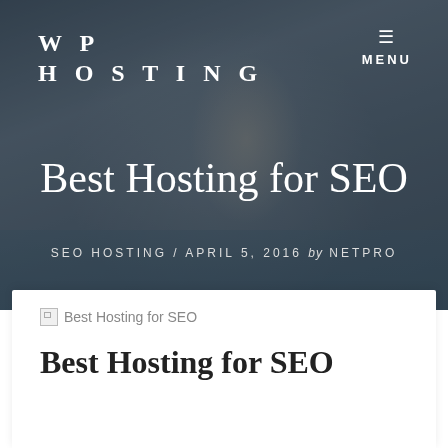[Figure (photo): Hero image with a woman in sunglasses celebrating with arms raised, ocean and island in background, dark overlay]
WP HOSTING
≡ MENU
Best Hosting for SEO
SEO HOSTING / APRIL 5, 2016 by NETPRO
[Figure (illustration): Broken image placeholder icon]
Best Hosting for SEO
Best Hosting for SEO